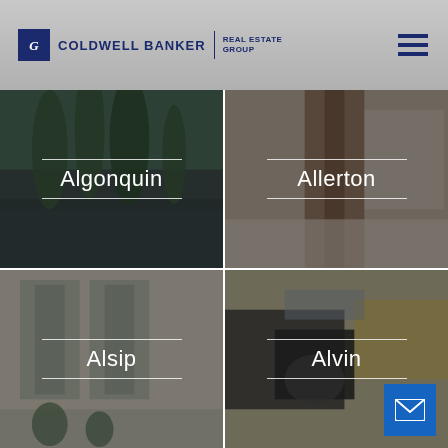Coldwell Banker Real Estate Group
[Figure (photo): Algonquin location tile - lake and trees at dusk with dark overlay]
[Figure (photo): Allerton location tile - interior chair and carpet with dark overlay]
[Figure (photo): Alsip location tile - interior room with large windows and dark overlay]
[Figure (photo): Alvin location tile - interior pillows arrangement with dark overlay]